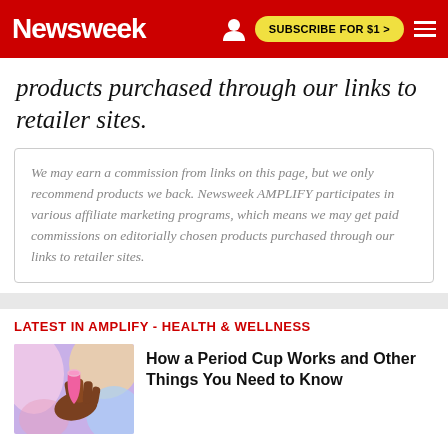Newsweek  SUBSCRIBE FOR $1 >
products purchased through our links to retailer sites.
We may earn a commission from links on this page, but we only recommend products we back. Newsweek AMPLIFY participates in various affiliate marketing programs, which means we may get paid commissions on editorially chosen products purchased through our links to retailer sites.
LATEST IN AMPLIFY - HEALTH & WELLNESS
[Figure (photo): A hand holding a pink menstrual cup against a colorful blurred background]
How a Period Cup Works and Other Things You Need to Know